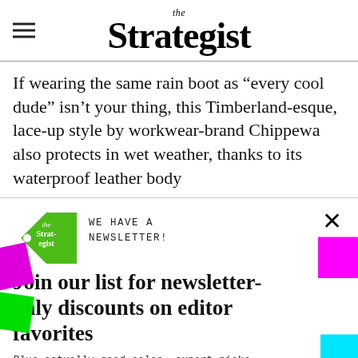the Strategist
If wearing the same rain boot as “every cool dude” isn’t your thing, this Timberland-esque, lace-up style by workwear-brand Chippewa also protects in wet weather, thanks to its waterproof leather body
[Figure (infographic): Newsletter signup modal overlay for The Strategist with green tag logo, colorful decorative paper-tab shapes (magenta, green, cyan, orange), email input field, SIGN ME UP button, and NO THANKS strikethrough link]
Join our list for newsletter-only discounts on editor favorites
Plus actually good sales, expert picks, and excellent gift ideas
NO THANKS